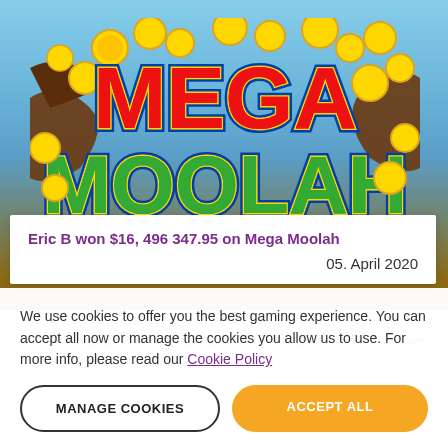[Figure (illustration): Mega Moolah slot game logo with gold coins and cartoon tree branches on a blue sky background. Large stylized text 'MEGA' in red and 'MOOLAH' in green, both with blue outlines and gold borders, surrounded by falling gold coins.]
Eric B won $16, 496 347.95 on Mega Moolah
05. April 2020
"I've been playing on JackpotCity for several years now. I never thought one day I could win such a
We use cookies to offer you the best gaming experience. You can accept all now or manage the cookies you allow us to use. For more info, please read our Cookie Policy
MANAGE COOKIES
ACCEPT ALL